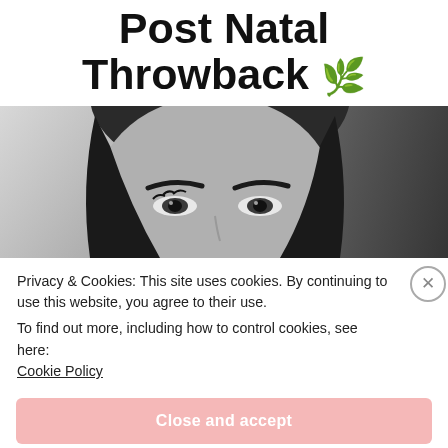Post Natal Throwback 🌿
[Figure (photo): Black and white close-up photo of a woman's face, showing eyes and forehead prominently]
Privacy & Cookies: This site uses cookies. By continuing to use this website, you agree to their use.
To find out more, including how to control cookies, see here:
Cookie Policy
Close and accept